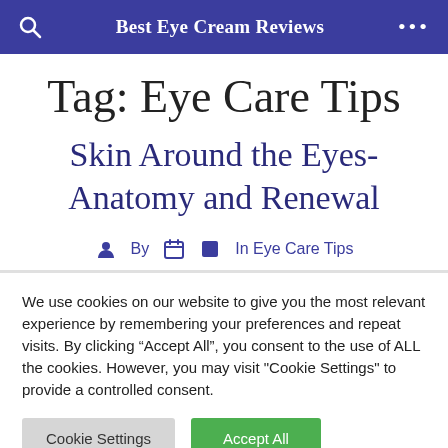Best Eye Cream Reviews
Tag: Eye Care Tips
Skin Around the Eyes- Anatomy and Renewal
By  In Eye Care Tips
We use cookies on our website to give you the most relevant experience by remembering your preferences and repeat visits. By clicking “Accept All”, you consent to the use of ALL the cookies. However, you may visit "Cookie Settings" to provide a controlled consent.
Cookie Settings  Accept All